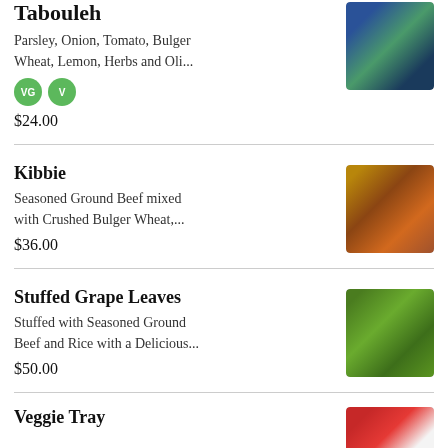Tabouleh
Parsley, Onion, Tomato, Bulger Wheat, Lemon, Herbs and Oli...
VG  V
$24.00
[Figure (photo): Overhead view of Tabouleh dish in blue bowl]
Kibbie
Seasoned Ground Beef mixed with Crushed Bulger Wheat,...
$36.00
[Figure (photo): Kibbie balls with one cut open showing filling]
Stuffed Grape Leaves
Stuffed with Seasoned Ground Beef and Rice with a Delicious...
$50.00
[Figure (photo): Overhead view of stuffed grape leaves]
Veggie Tray